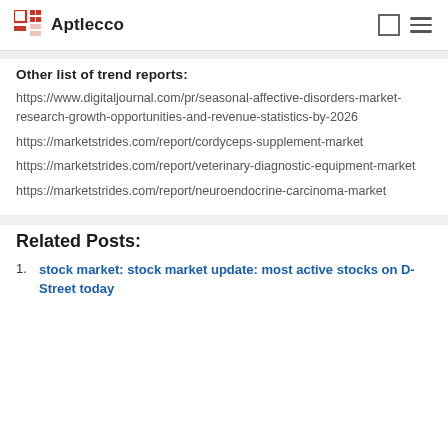Aptlecco
Other list of trend reports:
https://www.digitaljournal.com/pr/seasonal-affective-disorders-market-research-growth-opportunities-and-revenue-statistics-by-2026
https://marketstrides.com/report/cordyceps-supplement-market
https://marketstrides.com/report/veterinary-diagnostic-equipment-market
https://marketstrides.com/report/neuroendocrine-carcinoma-market
Related Posts:
stock market: stock market update: most active stocks on D-Street today